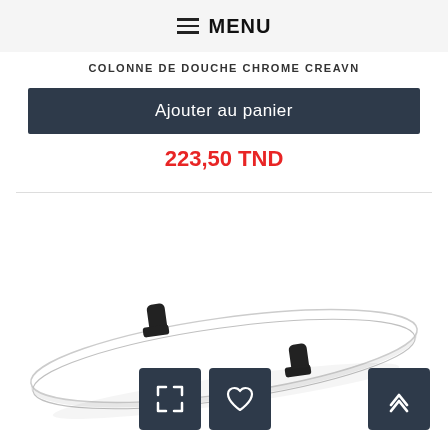MENU
COLONNE DE DOUCHE CHROME CREAVN
Ajouter au panier
223,50 TND
[Figure (photo): Product photo of a white oval-shaped shower shelf/tray with black mounting brackets, viewed at an angle against a white background.]